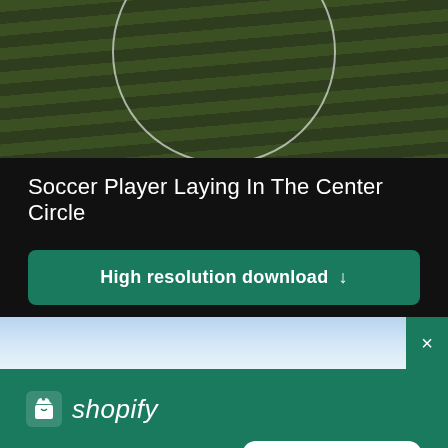[Figure (photo): Aerial view of a soccer/football field showing the center circle painted on green grass, viewed from above]
Soccer Player Laying In The Center Circle
High resolution download ↓
[Figure (screenshot): Partial advertisement banner showing blue sky background]
[Figure (logo): Shopify logo with shopping bag icon and italic shopify text]
Need an online store for your business?
Start free trial